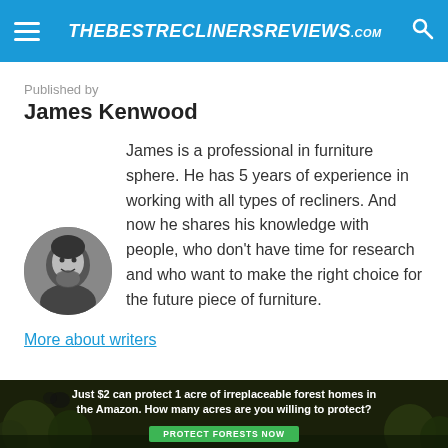THEBESTRECLINERSREVIEWS.com
Published by
James Kenwood
[Figure (photo): Circular black-and-white headshot of James Kenwood, a man smiling at the camera]
James is a professional in furniture sphere. He has 5 years of experience in working with all types of recliners. And now he shares his knowledge with people, who don't have time for research and who want to make the right choice for the future piece of furniture.
More about writers
[Figure (infographic): Ad banner with forest background: 'Just $2 can protect 1 acre of irreplaceable forest homes in the Amazon. How many acres are you willing to protect?' with a green 'PROTECT FORESTS NOW' button]